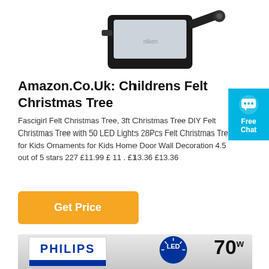[Figure (photo): Top portion of a black LED floodlight product on white background]
Amazon.Co.Uk: Childrens Felt Christmas Tree
Fascigirl Felt Christmas Tree, 3ft Christmas Tree DIY Felt Christmas Tree with 50 LED Lights 28Pcs Felt Christmas Tree for Kids Ornaments for Kids Home Door Wall Decoration 4.5 out of 5 stars 227 £11.99 £ 11 . £13.36 £13.36
[Figure (other): Free Chat button with chat bubble icon, cyan/blue background]
[Figure (other): Get Price orange button]
[Figure (photo): Philips LED 70W product packaging, partially visible at bottom of page]